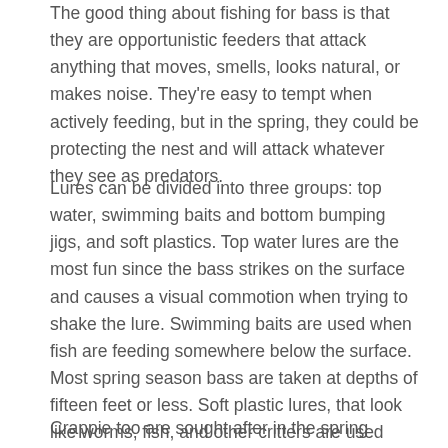The good thing about fishing for bass is that they are opportunistic feeders that attack anything that moves, smells, looks natural, or makes noise. They're easy to tempt when actively feeding, but in the spring, they could be protecting the nest and will attack whatever they see as predators.
Lures can be divided into three groups: top water, swimming baits and bottom bumping jigs, and soft plastics. Top water lures are the most fun since the bass strikes on the surface and causes a visual commotion when trying to shake the lure. Swimming baits are used when fish are feeding somewhere below the surface. Most spring season bass are taken at depths of fifteen feet or less. Soft plastic lures, that look like worms, fish, and other critters are used when bass are bottom feeding.
Crappie too are sought after in the spring because they, too, can be caught in shallow water. It's not so